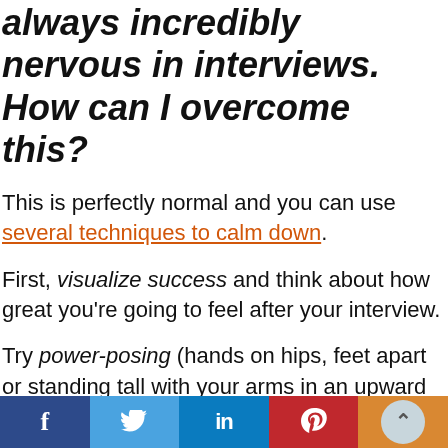always incredibly nervous in interviews. How can I overcome this?
This is perfectly normal and you can use several techniques to calm down.
First, visualize success and think about how great you’re going to feel after your interview.
Try power-posing (hands on hips, feet apart or standing tall with your arms in an upward “V”).
Tell yourself how excited you are to meet your next
Social share bar: Facebook, Twitter, LinkedIn, Pinterest, scroll-up